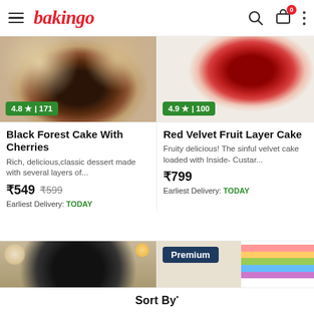bakingo
[Figure (photo): Black Forest Cake With Cherries product photo, top view, with rating badge 4.8 ★ | 171]
[Figure (photo): Red Velvet Fruit Layer Cake product photo, top view on white pedestal, with rating badge 4.9 ★ | 100]
Black Forest Cake With Cherries
Rich, delicious,classic dessert made with several layers of...
₹549 ₹599
Earliest Delivery: TODAY
Red Velvet Fruit Layer Cake
Fruity delicious! The sinful velvet cake loaded with Inside- Custar...
₹799
Earliest Delivery: TODAY
[Figure (photo): Fruit topped cake product photo]
[Figure (photo): Rainbow layer cake slice with Premium badge]
Sort By*